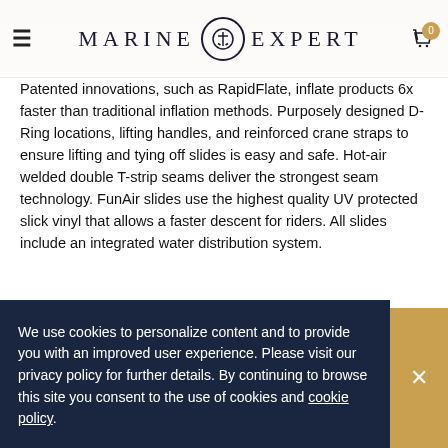MARINE EXPERT
Patented innovations, such as RapidFlate, inflate products 6x faster than traditional inflation methods. Purposely designed D-Ring locations, lifting handles, and reinforced crane straps to ensure lifting and tying off slides is easy and safe. Hot-air welded double T-strip seams deliver the strongest seam technology. FunAir slides use the highest quality UV protected slick vinyl that allows a faster descent for riders. All slides include an integrated water distribution system.
Why Choose a FunAir Inflatable Yacht Slide
Seamless Fit
We use cookies to personalize content and to provide you with an improved user experience. Please visit our privacy policy for further details. By continuing to browse this site you consent to the use of cookies and cookie policy.